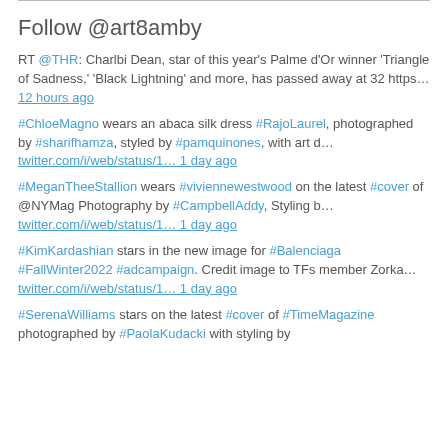Follow @art8amby
RT @THR: Charlbi Dean, star of this year's Palme d'Or winner 'Triangle of Sadness,' 'Black Lightning' and more, has passed away at 32 https… 12 hours ago
#ChloeMagno wears an abaca silk dress #RajoLaurel, photographed by #sharifhamza, styled by #pamquinones, with art d… twitter.com/i/web/status/1… 1 day ago
#MeganTheeStallion wears #viviennewestwood on the latest #cover of @NYMag Photography by #CampbellAddy, Styling b… twitter.com/i/web/status/1… 1 day ago
#KimKardashian stars in the new image for #Balenciaga #FallWinter2022 #adcampaign. Credit image to TFs member Zorka… twitter.com/i/web/status/1… 1 day ago
#SerenaWilliams stars on the latest #cover of #TimeMagazine photographed by #PaolaKudacki with styling by